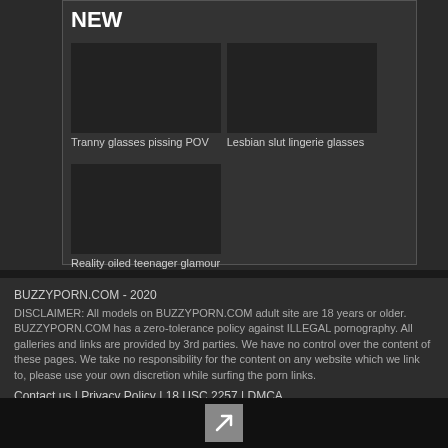NEW
Tranny glasses pissing POV
Lesbian slut lingerie glasses
Reality oiled teenager glamour
BUZZYPORN.COM - 2020 DISCLAIMER: All models on BUZZYPORN.COM adult site are 18 years or older. BUZZYPORN.COM has a zero-tolerance policy against ILLEGAL pornography. All galleries and links are provided by 3rd parties. We have no control over the content of these pages. We take no responsibility for the content on any website which we link to, please use your own discretion while surfing the porn links. Contact us | Privacy Policy | 18 USC 2257 | DMCA